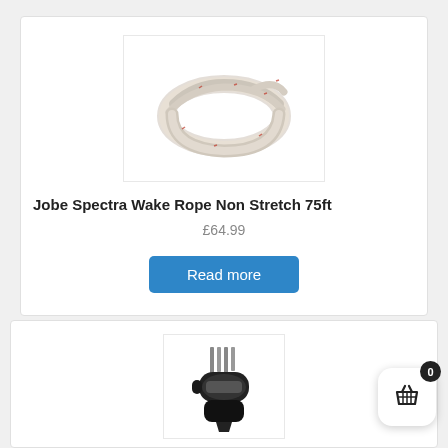[Figure (photo): Coiled white rope with red flecks - Jobe Spectra Wake Rope]
Jobe Spectra Wake Rope Non Stretch 75ft
£64.99
Read more
[Figure (photo): Multi-tool / knife with screwdriver bits accessory product]